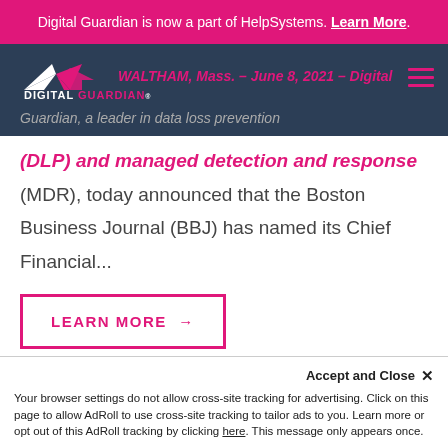Digital Guardian is now a part of HelpSystems. Learn More.
[Figure (logo): Digital Guardian by HelpSystems logo on dark navy navigation bar with hamburger menu icon]
WALTHAM, Mass. – June 8, 2021 – Digital Guardian, a leader in data loss prevention (DLP) and managed detection and response (MDR), today announced that the Boston Business Journal (BBJ) has named its Chief Financial...
LEARN MORE →
Accept and Close ×
Your browser settings do not allow cross-site tracking for advertising. Click on this page to allow AdRoll to use cross-site tracking to tailor ads to you. Learn more or opt out of this AdRoll tracking by clicking here. This message only appears once.